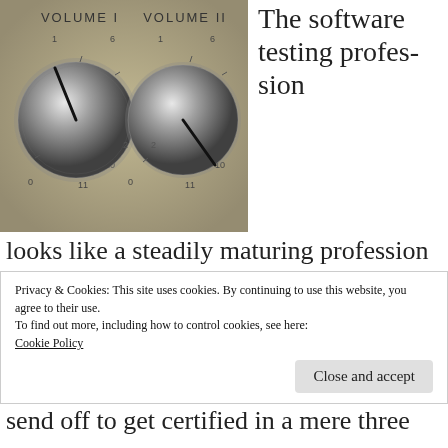[Figure (photo): Close-up photo of two silver volume knobs labeled VOLUME I and VOLUME II on a metal panel, with numbers 0-11 around each knob]
The software testing profession looks like a steadily maturing profession from the outside. After all, there are certifications schemes like ISTQB, CAT, IREB and QAMP (the
Privacy & Cookies: This site uses cookies. By continuing to use this website, you agree to their use.
To find out more, including how to control cookies, see here:
Cookie Policy
send off to get certified in a mere three